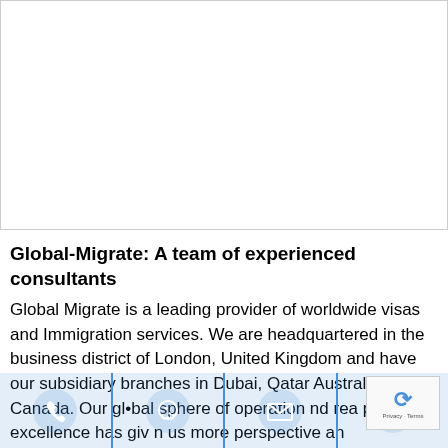[Figure (other): White blank image area with border]
Global-Migrate: A team of experienced consultants
Global Migrate is a leading provider of worldwide visas and Immigration services. We are headquartered in the business district of London, United Kingdom and have our subsidiary branches in Dubai, Qatar Australi Canada. Our global sphere of operation and rea par excellence has given us more perspective an